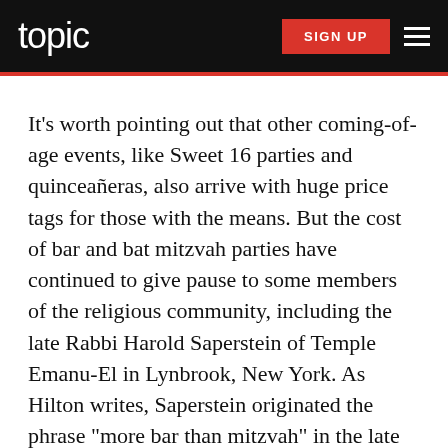topic | SIGN UP
It's worth pointing out that other coming-of-age events, like Sweet 16 parties and quinceañeras, also arrive with huge price tags for those with the means. But the cost of bar and bat mitzvah parties have continued to give pause to some members of the religious community, including the late Rabbi Harold Saperstein of Temple Emanu-El in Lynbrook, New York. As Hilton writes, Saperstein originated the phrase “more bar than mitzvah” in the late ’50s, to criticize ceremonies in which the party overpowered the sense of religious commitment. To combat the trend, in 1957, instead of a Saturday night with